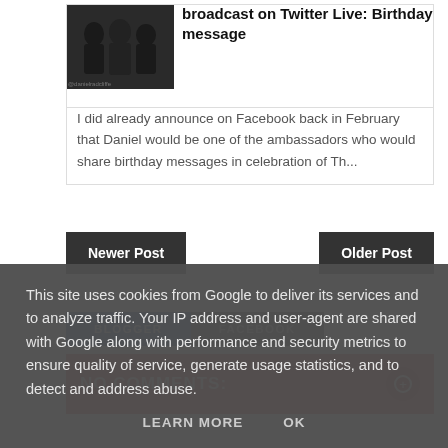[Figure (photo): Small thumbnail image of a group of people in dark clothing]
broadcast on Twitter Live: Birthday message
I did already announce on Facebook back in February that Daniel would be one of the ambassadors who would share birthday messages in celebration of Th...
Newer Post
Older Post
BLOGGER
FACEBOOK
NO COMMENTS:
This site uses cookies from Google to deliver its services and to analyze traffic. Your IP address and user-agent are shared with Google along with performance and security metrics to ensure quality of service, generate usage statistics, and to detect and address abuse.
LEARN MORE   OK